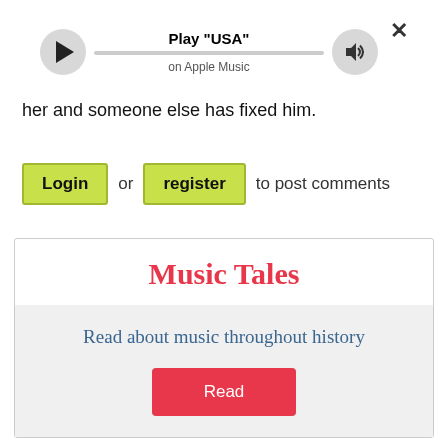[Figure (screenshot): Apple Music player bar with play button, progress track, volume/speaker button, title 'Play "USA"' and subtitle 'on Apple Music', and close X button]
her and someone else has fixed him.
Login or register to post comments
[Figure (other): Music Tales promotional box with red title 'Music Tales', subtitle 'Read about music throughout history', and a red 'Read' button on a light gray background]